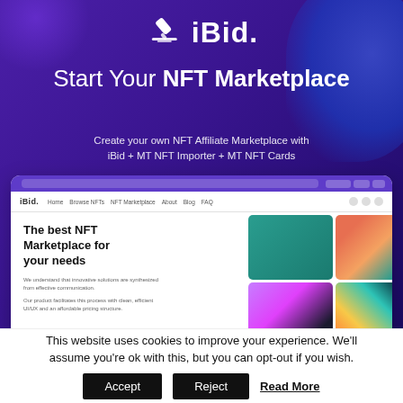[Figure (screenshot): iBid NFT Marketplace promotional banner with logo, tagline, and browser screenshot showing the iBid website]
Start Your NFT Marketplace
Create your own NFT Affiliate Marketplace with iBid + MT NFT Importer + MT NFT Cards
This website uses cookies to improve your experience. We'll assume you're ok with this, but you can opt-out if you wish.
Accept  Reject  Read More